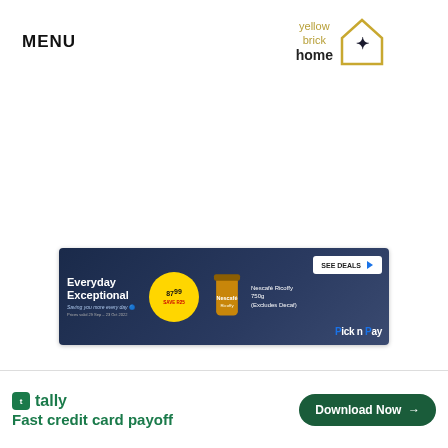MENU
[Figure (logo): Yellow Brick Home logo — text 'yellow brick home' with a house outline and star icon]
[Figure (infographic): Pick n Pay advertisement banner: 'Everyday Exceptional — Saving you more every day' with Nescafé Ricoffy 750g for R87.99, Save R25, SEE DEALS button, Pick n Pay branding on dark blue background]
[Figure (infographic): Tally app advertisement banner at bottom: 'Fast credit card payoff' with Download Now button, help and close icons]